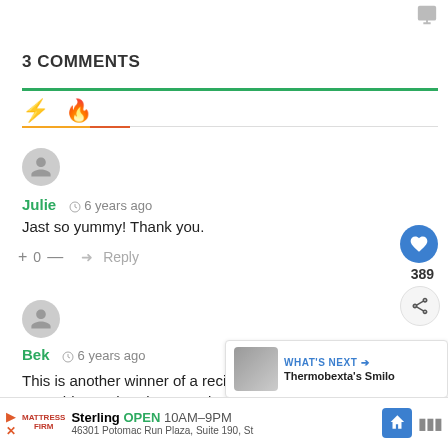3 COMMENTS
Julie  6 years ago
Jast so yummy! Thank you.
+ 0 — Reply
Bek  6 years ago
This is another winner of a recipe, Bec. We didn't have everything on hand so I made a few subs
[Figure (infographic): What's Next promo box with thumbnail image for Thermobexta's Smilo]
[Figure (infographic): Advertisement for Mattress Firm in Sterling, OPEN 10AM-9PM, 46301 Potomac Run Plaza, Suite 190, St]